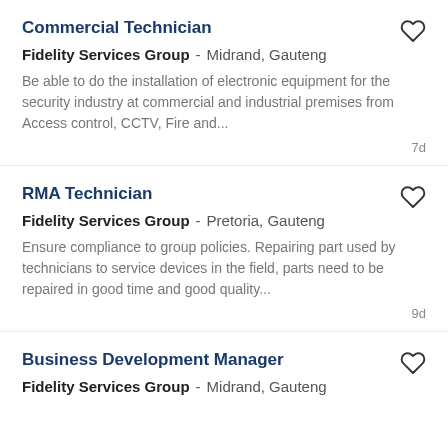Commercial Technician
Fidelity Services Group - Midrand, Gauteng
Be able to do the installation of electronic equipment for the security industry at commercial and industrial premises from Access control, CCTV, Fire and...
7d
RMA Technician
Fidelity Services Group - Pretoria, Gauteng
Ensure compliance to group policies. Repairing part used by technicians to service devices in the field, parts need to be repaired in good time and good quality...
9d
Business Development Manager
Fidelity Services Group - Midrand, Gauteng